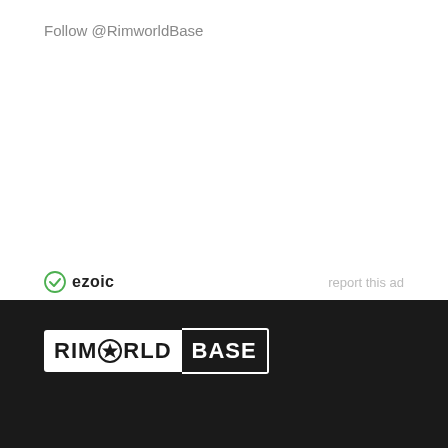Follow @RimworldBase
[Figure (logo): Ezoic logo with green circle icon and 'ezoic' text in bold]
report this ad
[Figure (logo): RimWorldBase logo: white background with 'RIMWORLD' text (star replacing the O) and black background 'BASE' text]